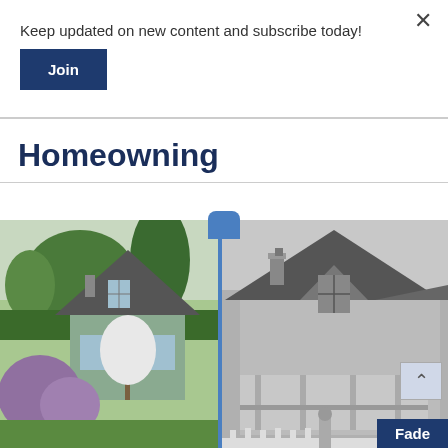Keep updated on new content and subscribe today!
Join
Homeowning
[Figure (photo): Split comparison image: left side shows a color photograph of a house with a pointed roof, green trees, and purple flowering bushes in the foreground; right side shows a black-and-white historical photograph of a similar Victorian-style house with a porch and chimney. A blue vertical divider separates the two images with a rounded toggle button at the top.]